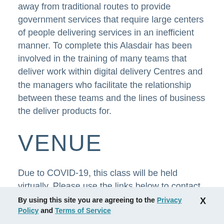away from traditional routes to provide government services that require large centers of people delivering services in an inefficient manner.  To complete this Alasdair has been involved in the training of many teams that deliver work within digital delivery Centres and the managers who facilitate the relationship between these teams and the lines of business the deliver products for.
VENUE
Due to COVID-19, this class will be held virtually. Please use the links below to contact the trainer for more details.
By using this site you are agreeing to the Privacy Policy and Terms of Service